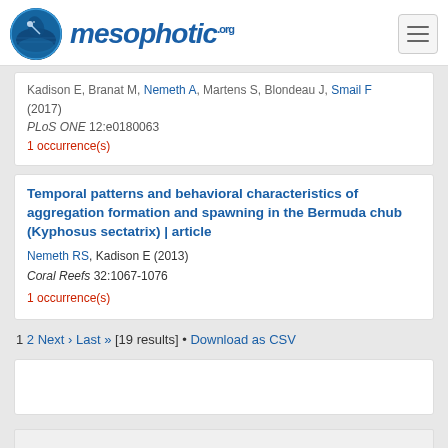[Figure (logo): Mesophotic.org logo with diver circle icon and stylized text]
Kadison E, Branat M, Nemeth A, Martens S, Blondeau J, Smail F (2017)
PLoS ONE 12:e0180063
1 occurrence(s)
Temporal patterns and behavioral characteristics of aggregation formation and spawning in the Bermuda chub (Kyphosus sectatrix) | article
Nemeth RS, Kadison E (2013)
Coral Reefs 32:1067-1076
1 occurrence(s)
1 2 Next › Last » [19 results] • Download as CSV